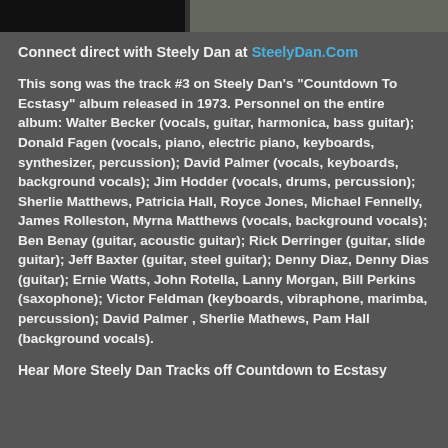[Figure (photo): Top banner with dark black sections on left and a gray faded image section on the right]
Connect direct with Steely Dan at SteelyDan.Com
This song was the track #3 on Steely Dan's "Countdown To Ecstasy" album released in 1973. Personnel on the entire album: Walter Becker (vocals, guitar, harmonica, bass guitar); Donald Fagen (vocals, piano, electric piano, keyboards, synthesizer, percussion); David Palmer (vocals, keyboards, background vocals); Jim Hodder (vocals, drums, percussion); Sherlie Matthews, Patricia Hall, Royce Jones, Michael Fennelly, James Rolleston, Myrna Matthews (vocals, background vocals); Ben Benay (guitar, acoustic guitar); Rick Derringer (guitar, slide guitar); Jeff Baxter (guitar, steel guitar); Denny Diaz, Denny Dias (guitar); Ernie Watts, John Rotella, Lanny Morgan, Bill Perkins (saxophone); Victor Feldman (keyboards, vibraphone, marimba, percussion); David Palmer , Sherlie Mathews, Pam Hall (background vocals).
Hear More Steely Dan Tracks off Countdown to Ecstasy